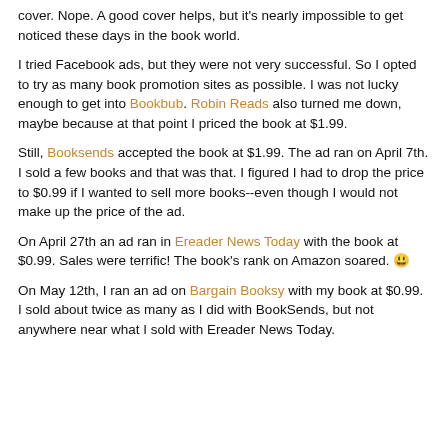cover. Nope. A good cover helps, but it's nearly impossible to get noticed these days in the book world.
I tried Facebook ads, but they were not very successful. So I opted to try as many book promotion sites as possible. I was not lucky enough to get into Bookbub. Robin Reads also turned me down, maybe because at that point I priced the book at $1.99.
Still, Booksends accepted the book at $1.99. The ad ran on April 7th. I sold a few books and that was that. I figured I had to drop the price to $0.99 if I wanted to sell more books--even though I would not make up the price of the ad.
On April 27th an ad ran in Ereader News Today with the book at $0.99. Sales were terrific! The book's rank on Amazon soared. 😃
On May 12th, I ran an ad on Bargain Booksy with my book at $0.99. I sold about twice as many as I did with BookSends, but not anywhere near what I sold with Ereader News Today.